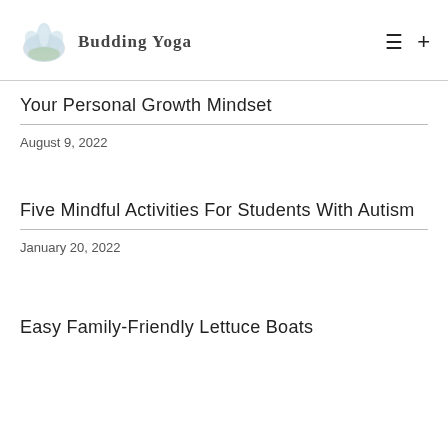Budding Yoga
Your Personal Growth Mindset
August 9, 2022
Five Mindful Activities For Students With Autism
January 20, 2022
Easy Family-Friendly Lettuce Boats